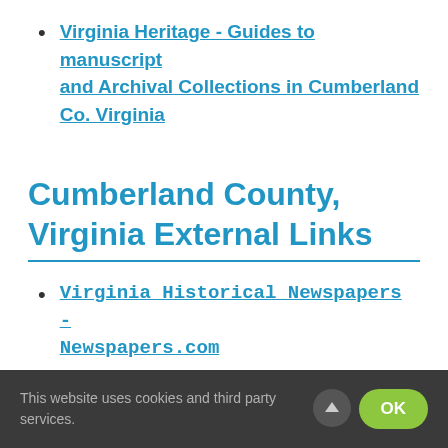Virginia Heritage - Guides to manuscript and Archival Collections in Cumberland Co. Virginia
Cumberland County, Virginia External Links
Virginia Historical Newspapers - Newspapers.com
Historical Newspapers from Virginia
This website uses cookies and third party services. OK